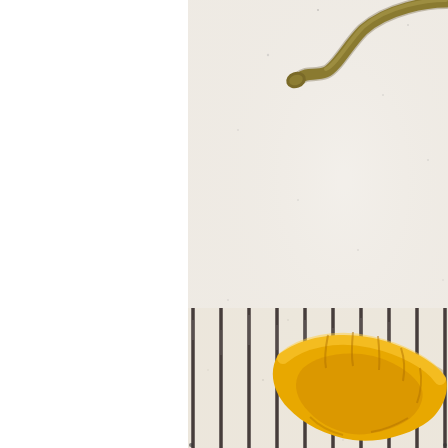[Figure (photo): Scientific specimen photograph showing two organisms on a white background with a ruled grid at the bottom. The upper organism is a slender, elongated worm-like creature (olive/brown colored) that curves from the upper right to a rounded head on the left. The lower organism is a bright yellow, coiled/curved caterpillar or larva resting on parallel vertical black lines (measurement grid). The left portion of the page is white/blank.]